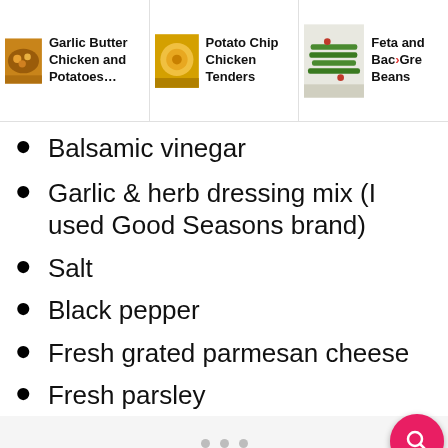Garlic Butter Chicken and Potatoes... | Potato Chip Chicken Tenders | Feta and Bacon Green Beans
Balsamic vinegar
Garlic & herb dressing mix (I used Good Seasons brand)
Salt
Black pepper
Fresh grated parmesan cheese
Fresh parsley
[Figure (screenshot): Carousel image carousel dot indicators on light gray background]
45131 Columbia Place, Sterling | Dine-in | Curbside pickup | Advertisement bar